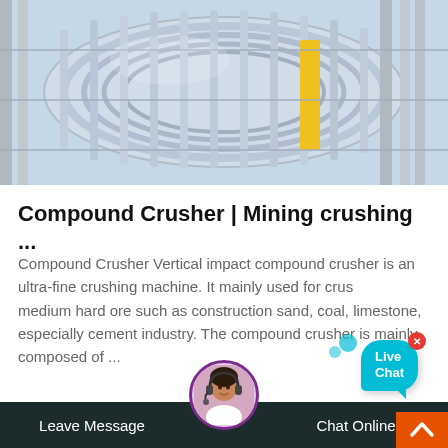[Figure (photo): Industrial machinery - large cylindrical drum or crusher equipment, gray/white metallic color with structural frame visible in background]
Compound Crusher | Mining crushing ...
Compound Crusher Vertical impact compound crusher is an ultra-fine crushing machine. It mainly used for crushing medium hard ore such as construction sand, coal, limestone, especially cement industry. The compound crusher is mainly composed of ...
[Figure (photo): Bottom section showing a person in dark clothing against a green background; customer service representative avatar with headset; dark footer bar with Leave Message and Chat Online buttons; orange scroll-to-top button; Live Chat bubble overlay]